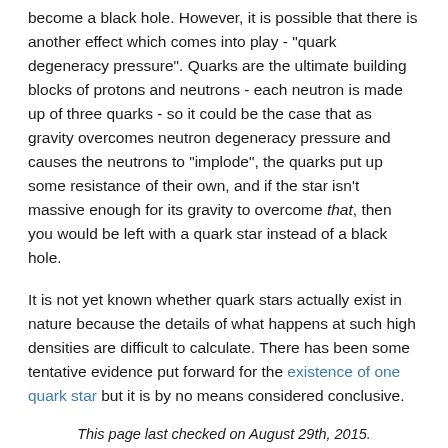become a black hole. However, it is possible that there is another effect which comes into play - "quark degeneracy pressure". Quarks are the ultimate building blocks of protons and neutrons - each neutron is made up of three quarks - so it could be the case that as gravity overcomes neutron degeneracy pressure and causes the neutrons to "implode", the quarks put up some resistance of their own, and if the star isn't massive enough for its gravity to overcome that, then you would be left with a quark star instead of a black hole.
It is not yet known whether quark stars actually exist in nature because the details of what happens at such high densities are difficult to calculate. There has been some tentative evidence put forward for the existence of one quark star but it is by no means considered conclusive.
This page last checked on August 29th, 2015.